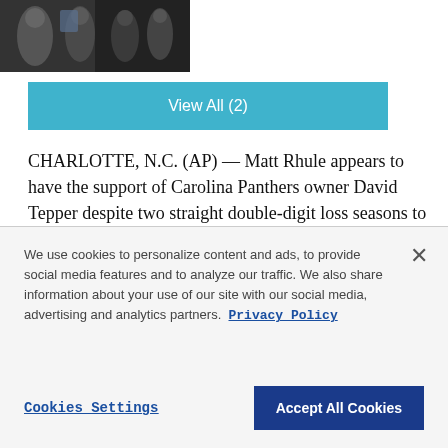[Figure (photo): Sports photo showing people in dark clothing, appears to be Carolina Panthers related]
View All (2)
CHARLOTTE, N.C. (AP) — Matt Rhule appears to have the support of Carolina Panthers owner David Tepper despite two straight double-digit loss seasons to start his NFL head coaching career.
We use cookies to personalize content and ads, to provide social media features and to analyze our traffic. We also share information about your use of our site with our social media, advertising and analytics partners. Privacy Policy
Cookies Settings
Accept All Cookies